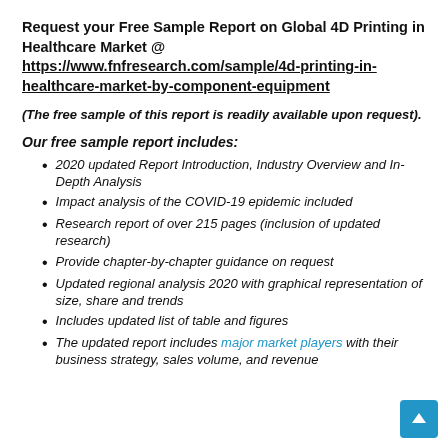Request your Free Sample Report on Global 4D Printing in Healthcare Market @ https://www.fnfresearch.com/sample/4d-printing-in-healthcare-market-by-component-equipment
(The free sample of this report is readily available upon request).
Our free sample report includes:
2020 updated Report Introduction, Industry Overview and In-Depth Analysis
Impact analysis of the COVID-19 epidemic included
Research report of over 215 pages (inclusion of updated research)
Provide chapter-by-chapter guidance on request
Updated regional analysis 2020 with graphical representation of size, share and trends
Includes updated list of table and figures
The updated report includes major market players with their business strategy, sales volume, and revenue